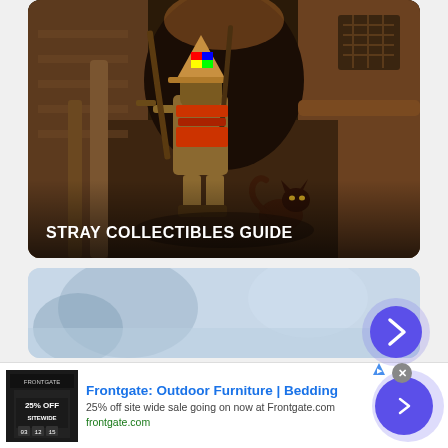[Figure (screenshot): Game screenshot showing an armored robot character with a conical hat holding weapons, accompanied by a small dark cat, in a narrow dimly lit alley with warm amber/brown stone walls and pipes. Text overlay reads STRAY COLLECTIBLES GUIDE.]
[Figure (photo): Partially visible image with blurred blue-white sky background, second card in a scrollable list.]
[Figure (infographic): Advertisement banner for Frontgate: Outdoor Furniture and Bedding. Shows a thumbnail with text '25% OFF SITEWIDE', ad title 'Frontgate: Outdoor Furniture | Bedding', description '25% off site wide sale going on now at Frontgate.com', URL 'frontgate.com', and a purple circular call-to-action button with a right arrow. A close button X is shown.]